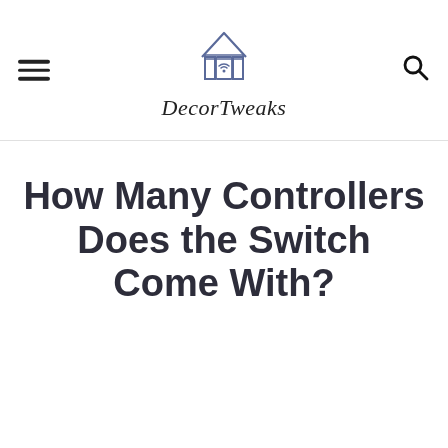DecorTweaks
How Many Controllers Does the Switch Come With?